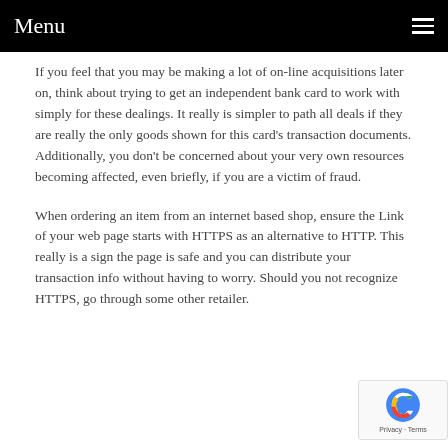Menu
If you feel that you may be making a lot of on-line acquisitions later on, think about trying to get an independent bank card to work with simply for these dealings. It really is simpler to path all deals if they are really the only goods shown for this card's transaction documents. Additionally, you don't be concerned about your very own resources becoming affected, even briefly, if you are a victim of fraud.
When ordering an item from an internet based shop, ensure the Link of your web page starts with HTTPS as an alternative to HTTP. This really is a sign the page is safe and you can distribute your transaction info without having to worry. Should you not recognize HTTPS, go through some other retailer.